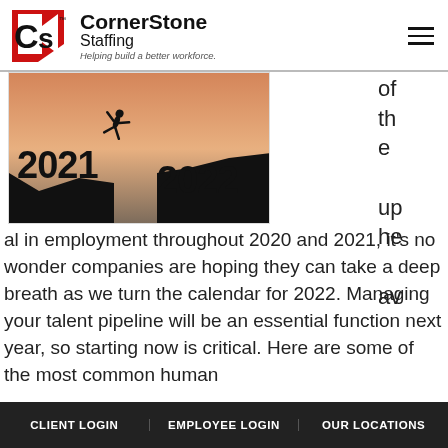CornerStone Staffing — Helping build a better workforce.
[Figure (photo): Silhouette of a person jumping from 2021 to 2022 cliff edges against a sunset sky background]
of the up he av al in employment throughout 2020 and 2021, it's no wonder companies are hoping they can take a deep breath as we turn the calendar for 2022. Managing your talent pipeline will be an essential function next year, so starting now is critical. Here are some of the most common human
CLIENT LOGIN   EMPLOYEE LOGIN   OUR LOCATIONS